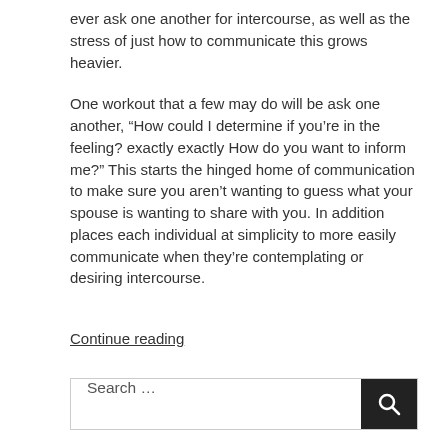ever ask one another for intercourse, as well as the stress of just how to communicate this grows heavier.
One workout that a few may do will be ask one another, “How could I determine if you’re in the feeling? exactly exactly How do you want to inform me?” This starts the hinged home of communication to make sure you aren’t wanting to guess what your spouse is wanting to share with you. In addition places each individual at simplicity to more easily communicate when they’re contemplating or desiring intercourse.
Continue reading
Search …